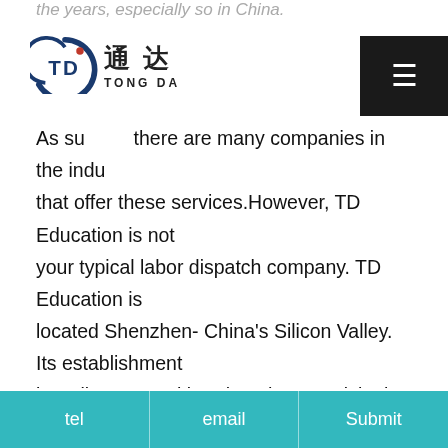the years, especially so in China.
[Figure (logo): Tong Da (通达) company logo with circular T and D motif, Chinese characters 通达, and text TONG DA below]
As such, there are many companies in the industry that offer these services. However, TD Education is not your typical labor dispatch company. TD Education is located Shenzhen- China's Silicon Valley. Its establishment is well supported by Shenzhen Municipal Government and Educational Departments. Currently TD is working with over 100 schools/ training centers/ kindergartens all over China.
Our goal at TD Education is to not only introduce you to your ideal career, but to also help you adjust to your new life here in China. We offer training in a wide range essential skills, such as introduction to local culture
tel | email | Submit